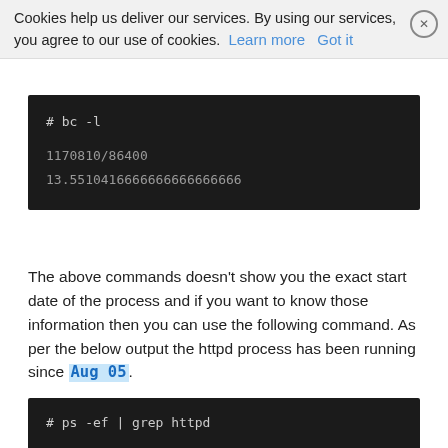Cookies help us deliver our services. By using our services, you agree to our use of cookies. Learn more  Got it
[Figure (screenshot): Terminal code block showing: # bc -l followed by 1170810/86400 and 13.5510416666666666666666]
The above commands doesn't show you the exact start date of the process and if you want to know those information then you can use the following command. As per the below output the httpd process has been running since Aug 05.
[Figure (screenshot): Terminal code block showing: # ps -ef | grep httpd]